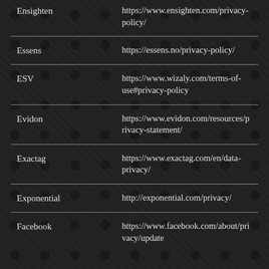| Company | Privacy Policy URL |
| --- | --- |
| Ensighten | https://www.ensighten.com/privacy-policy/ |
| Essens | https://essens.no/privacy-policy/ |
| ESV | https://www.wizaly.com/terms-of-use#privacy-policy |
| Evidon | https://www.evidon.com/resources/privacy-statement/ |
| Exactag | https://www.exactag.com/en/data-privacy/ |
| Exponential | http://exponential.com/privacy/ |
| Facebook | https://www.facebook.com/about/privacy/update |